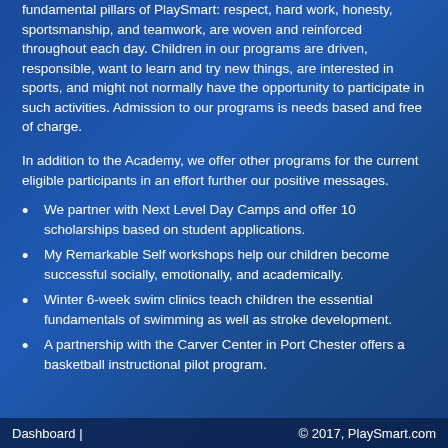fundamental pillars of PlaySmart: respect, hard work, honesty, sportsmanship, and teamwork, are woven and reinforced throughout each day.  Children in our programs are driven, responsible, want to learn and try new things, are interested in sports, and might not normally have the opportunity to participate in such activities.  Admission to our programs is needs based and free of charge.
In addition to the Academy, we offer other programs for the current eligible participants in an effort further our positive messages.
We partner with Next Level Day Camps and offer 10 scholarships based on student applications.
My Remarkable Self workshops help our children become successful socially, emotionally, and academically.
Winter 6-week swim clinics teach children the essential fundamentals of swimming as well as stroke development.
A partnership with the Carver Center in Port Chester offers a basketball instructional pilot program.
Dashboard |                    © 2017, PlaySmart.com